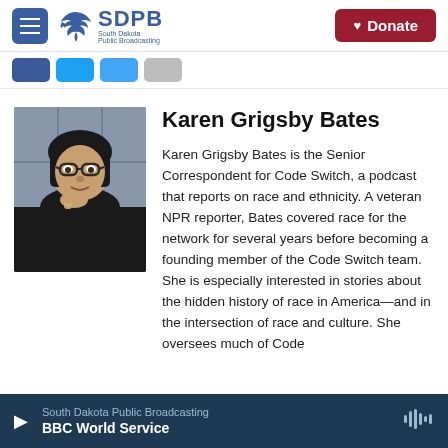SDPB South Dakota Public Broadcasting | Donate
[Figure (screenshot): Social share buttons: Facebook, Twitter, Email, Print]
[Figure (photo): Headshot of Karen Grigsby Bates, a woman with dark hair and glasses, resting her chin on her hand, wearing a dark top.]
Karen Grigsby Bates
Karen Grigsby Bates is the Senior Correspondent for Code Switch, a podcast that reports on race and ethnicity. A veteran NPR reporter, Bates covered race for the network for several years before becoming a founding member of the Code Switch team. She is especially interested in stories about the hidden history of race in America—and in the intersection of race and culture. She oversees much of Code
South Dakota Public Broadcasting
BBC World Service